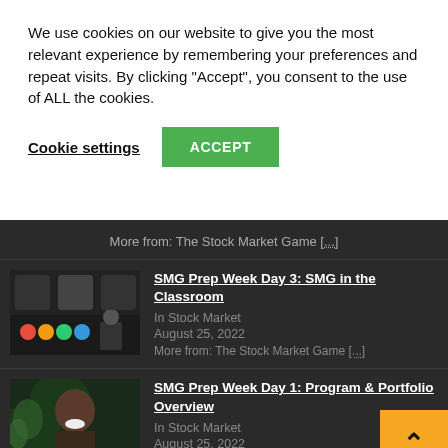We use cookies on our website to give you the most relevant experience by remembering your preferences and repeat visits. By clicking "Accept", you consent to the use of ALL the cookies.
Cookie settings  ACCEPT
More from: The Stock Market Game [...]
SMG Prep Week Day 3: SMG in the Classroom
In Stock Market
August 25, 2022
More from: The Stock Market Game [...]
SMG Prep Week Day 1: Program & Portfolio Overview
In Stock Market
August 25, 2022
More from: The Stock Market Game [ ]